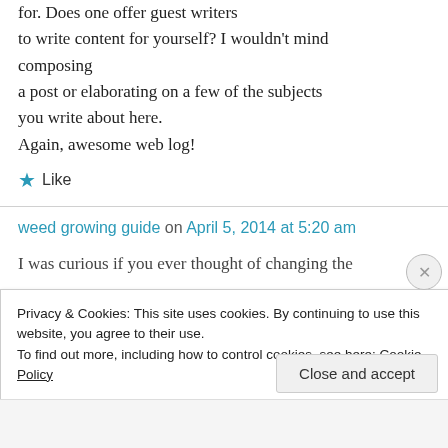for. Does one offer guest writers to write content for yourself? I wouldn't mind composing a post or elaborating on a few of the subjects you write about here. Again, awesome web log!
★ Like
weed growing guide on April 5, 2014 at 5:20 am
I was curious if you ever thought of changing the
Privacy & Cookies: This site uses cookies. By continuing to use this website, you agree to their use. To find out more, including how to control cookies, see here: Cookie Policy
Close and accept